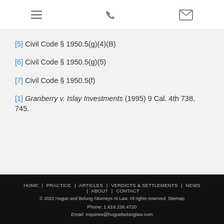[icons: hamburger menu, phone, email]
[5] Civil Code § 1950.5(g)(4)(B)
[6] Civil Code § 1950.5(g)(5)
[7] Civil Code § 1950.5(f)
[1] Granberry v. Islay Investments (1995) 9 Cal. 4th 738, 745.
HOME | PRACTICE | ARTICLES | VERDICTS & SETTLEMENTS | NEWS | ABOUT | CONTACT
© 2022 Hogue and Belong Attorneys At Law. All rights reserved. Sitemap
Phone: 1.619.238.4720
Email: inquiries@hoguebelonglaw.com